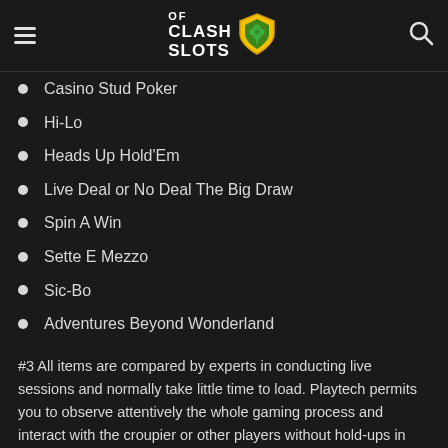CLASH OF SLOTS
Casino Stud Poker
Hi-Lo
Heads Up Hold'Em
Live Deal or No Deal The Big Draw
Spin A Win
Sette E Mezzo
Sic-Bo
Adventures Beyond Wonderland
#3 All items are compared by experts in conducting live sessions and normally take little time to load. Playtech permits you to observe attentively the whole gaming process and interact with the croupier or other players without hold-ups in real-time. Each player employs its own multifunctional on-screen interface that allows them to manage their bets in a smart way.
#4 All of these games run equally well on all mobile